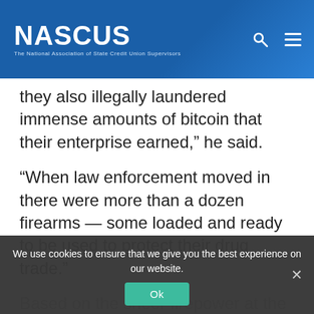NASCUS — The National Association of State Credit Union Supervisors
they also illegally laundered immense amounts of bitcoin that their enterprise earned," he said.
"When law enforcement moved in there were more than a dozen firearms — some loaded and ready to be used to protect their drug trade."
Based on the sheer firepower at the pair's disposal, and at the urging of the prosecution, presiding District Judge John C. Coughenour said he felt justified in handing them a five-
We use cookies to ensure that we give you the best experience on our website.